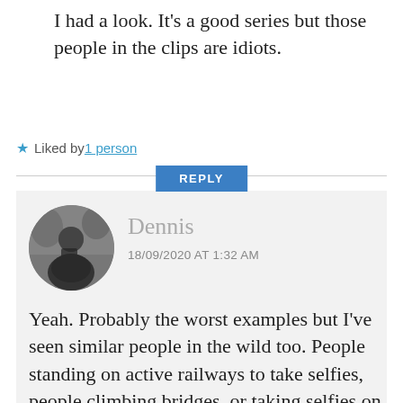I had a look. It's a good series but those people in the clips are idiots.
★ Liked by 1 person
REPLY
[Figure (photo): Black and white circular avatar photo of Dennis, a man holding a camera, outdoors with trees in background.]
Dennis
18/09/2020 AT 1:32 AM
Yeah. Probably the worst examples but I've seen similar people in the wild too. People standing on active railways to take selfies, people climbing bridges, or taking selfies on busy streets and stuff like that. Like, what could go wrong? And why